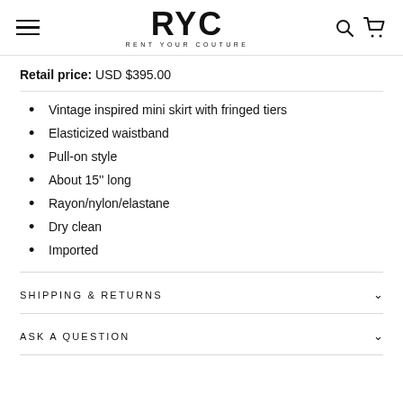RYC RENT YOUR COUTURE
Retail price: USD $395.00
Vintage inspired mini skirt with fringed tiers
Elasticized waistband
Pull-on style
About 15'' long
Rayon/nylon/elastane
Dry clean
Imported
SHIPPING & RETURNS
ASK A QUESTION